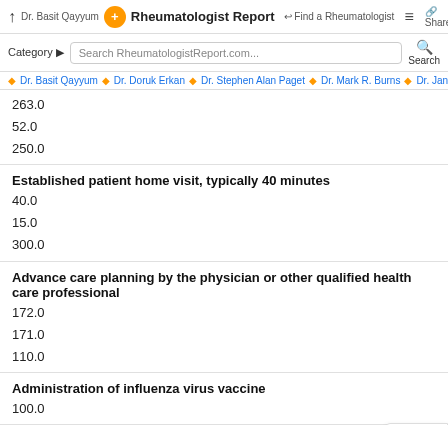↑ Dr. Basit Qayyum [logo] Rheumatologist Report ↩ Find a Rheumatologist ≡ Share
Category ▶  Search RheumatologistReport.com...  🔍 Search
◆ Dr. Basit Qayyum  ◆ Dr. Doruk Erkan  ◆ Dr. Stephen Alan Paget  ◆ Dr. Mark R. Burns  ◆ Dr. Jan
263.0
52.0
250.0
Established patient home visit, typically 40 minutes
40.0
15.0
300.0
Advance care planning by the physician or other qualified health care professional
172.0
171.0
110.0
Administration of influenza virus vaccine
100.0